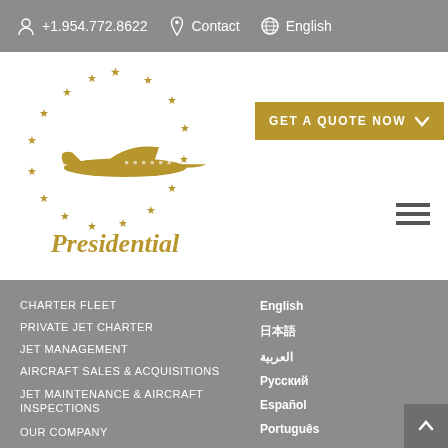+1.954.772.8622  Contact  English
[Figure (logo): Presidential Aviation logo with gold stars in a circle and a gold jet aircraft, with the text 'Presidential' below]
GET A QUOTE NOW
CHARTER FLEET
PRIVATE JET CHARTER
JET MANAGEMENT
AIRCRAFT SALES & ACQUISITIONS
JET MAINTENANCE & AIRCRAFT INSPECTIONS
OUR COMPANY
PRESIDENTIAL JET VACATIONS
English
日本語
العربية
Русский
Español
Português